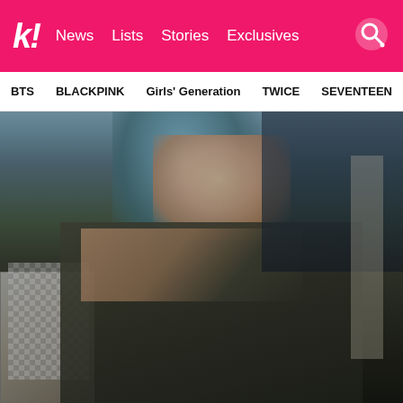koreaboo - News | Lists | Stories | Exclusives
BTS  BLACKPINK  Girls' Generation  TWICE  SEVENTEEN
[Figure (photo): Young woman with blue-gray hair wearing a dark olive/black jacket, resting her cheek on her hand, sitting in what appears to be a restaurant or cafe setting with checkered chairs visible in the background.]